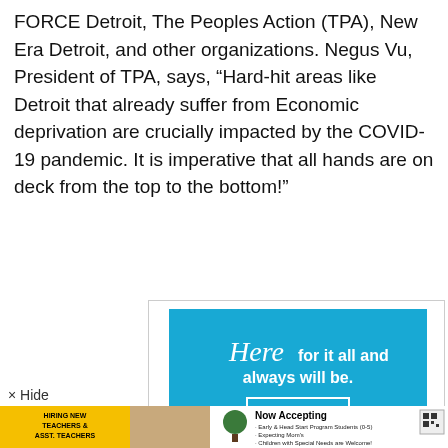FORCE Detroit, The Peoples Action (TPA), New Era Detroit, and other organizations. Negus Vu, President of TPA, says, “Hard-hit areas like Detroit that already suffer from Economic deprivation are crucially impacted by the COVID-19 pandemic. It is imperative that all hands are on deck from the top to the bottom!”
[Figure (illustration): Blue Cross Blue Shield advertisement with light blue background. Cursive text 'Here' followed by 'for it all and always will be.' with a 'Get info' button and Blue Cross Blue Shield logo at bottom.]
× Hide
[Figure (illustration): Bottom banner advertisement split into two sections: left yellow section saying 'HIRING NEW TEACHERS & ASST. TEACHERS', and right white section with 'Now Accepting' heading listing Early & Head Start Program Students (0-5), Expecting Mom's, Children with Special Needs are Welcome!]